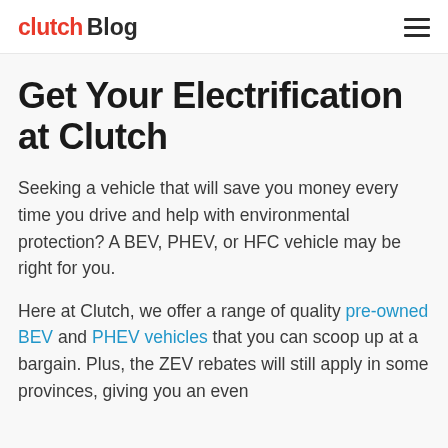clutch Blog
Get Your Electrification at Clutch
Seeking a vehicle that will save you money every time you drive and help with environmental protection? A BEV, PHEV, or HFC vehicle may be right for you.
Here at Clutch, we offer a range of quality pre-owned BEV and PHEV vehicles that you can scoop up at a bargain. Plus, the ZEV rebates will still apply in some provinces, giving you an even